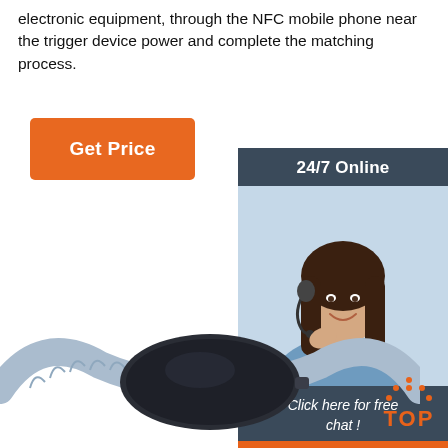electronic equipment, through the NFC mobile phone near the trigger device power and complete the matching process.
[Figure (other): Orange 'Get Price' button]
[Figure (other): 24/7 Online chat widget with photo of female customer service agent wearing headset, 'Click here for free chat!' text, and orange QUOTATION button]
[Figure (other): Side view of a smart watch / NFC wristband device with dark circular case and blue-grey rubber strap]
[Figure (other): Orange TOP button with dotted house icon in bottom right corner]